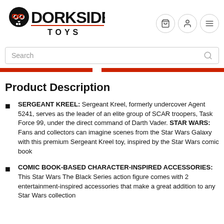Dorkside Toys
Product Description
SERGEANT KREEL: Sergeant Kreel, formerly undercover Agent 5241, serves as the leader of an elite group of SCAR troopers, Task Force 99, under the direct command of Darth Vader. STAR WARS: Fans and collectors can imagine scenes from the Star Wars Galaxy with this premium Sergeant Kreel toy, inspired by the Star Wars comic book
COMIC BOOK-BASED CHARACTER-INSPIRED ACCESSORIES: This Star Wars The Black Series action figure comes with 2 entertainment-inspired accessories that make a great addition to any Star Wars collection